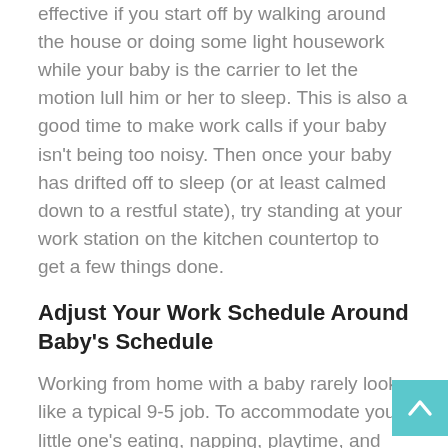effective if you start off by walking around the house or doing some light housework while your baby is the carrier to let the motion lull him or her to sleep. This is also a good time to make work calls if your baby isn't being too noisy. Then once your baby has drifted off to sleep (or at least calmed down to a restful state), try standing at your work station on the kitchen countertop to get a few things done.
Adjust Your Work Schedule Around Baby's Schedule
Working from home with a baby rarely looks like a typical 9-5 job. To accommodate your little one's eating, napping, playtime, and bedtime schedule